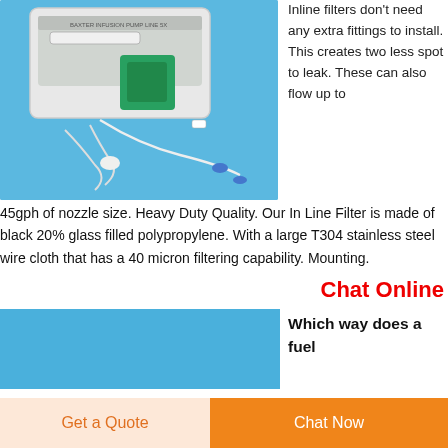[Figure (photo): Medical IV infusion pump with tubing, inline filters, and connectors on a blue background]
Inline filters don't need any extra fittings to install. This creates two less spot to leak. These can also flow up to 45gph of nozzle size. Heavy Duty Quality. Our In Line Filter is made of black 20% glass filled polypropylene. With a large T304 stainless steel wire cloth that has a 40 micron filtering capability. Mounting.
Chat Online
[Figure (photo): Blue rectangle image (cropped photo)]
Which way does a fuel
Get a Quote
Chat Now